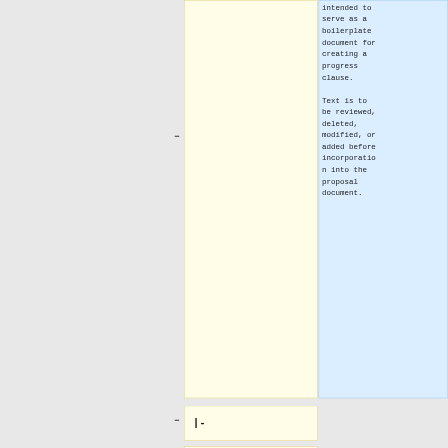intended to serve as a boilerplate document for creating a progress clause. Text is to be reviewed, deleted, modified, or added before incorporation into the proposal document.
|-
!
colspan="2"
|